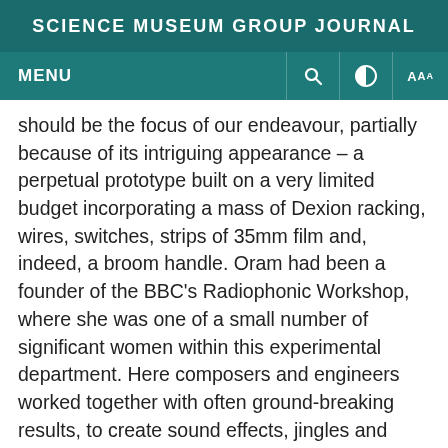SCIENCE MUSEUM GROUP JOURNAL
MENU
should be the focus of our endeavour, partially because of its intriguing appearance – a perpetual prototype built on a very limited budget incorporating a mass of Dexion racking, wires, switches, strips of 35mm film and, indeed, a broom handle. Oram had been a founder of the BBC's Radiophonic Workshop, where she was one of a small number of significant women within this experimental department. Here composers and engineers worked together with often ground-breaking results, to create sound effects, jingles and soundtracks for radio and television shows, perhaps most famously for the science fiction series Doctor Who (Niebur, 2010). The Oramics Machine was the fruit of Oram's determination to create a device that would translate drawings into